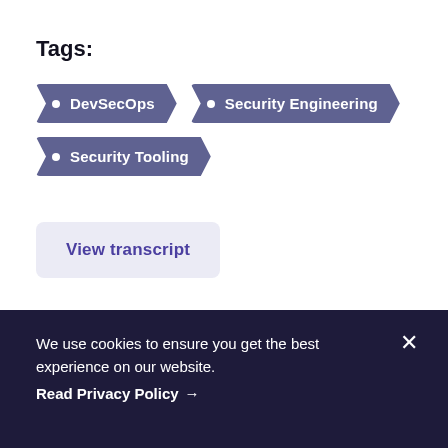Tags:
• DevSecOps
• Security Engineering
• Security Tooling
View transcript
We use cookies to ensure you get the best experience on our website. Read Privacy Policy →